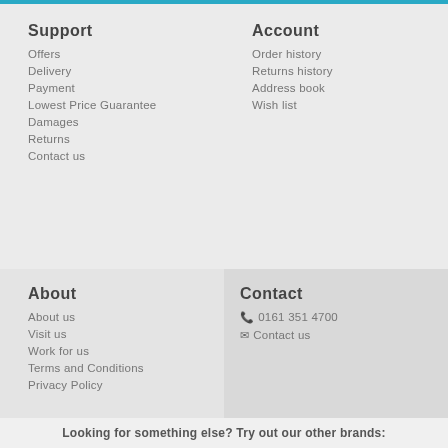Support
Offers
Delivery
Payment
Lowest Price Guarantee
Damages
Returns
Contact us
Account
Order history
Returns history
Address book
Wish list
About
About us
Visit us
Work for us
Terms and Conditions
Privacy Policy
Contact
0161 351 4700
Contact us
Looking for something else? Try out our other brands: